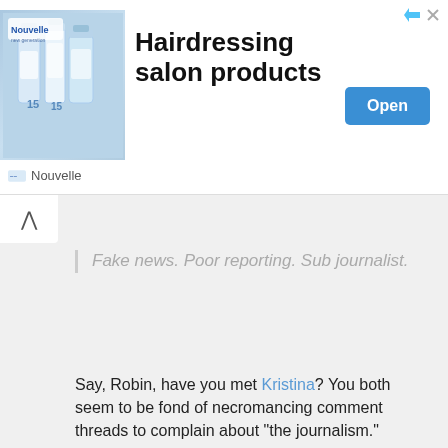[Figure (infographic): Advertisement banner for Hairdressing salon products by Nouvelle. Shows product bottles on blue background on the left, bold ad title in center, and an 'Open' button on the right.]
Hairdressing salon products
Nouvelle
Fake news. Poor reporting. Sub journalist.
Say, Robin, have you met Kristina? You both seem to be fond of necromancing comment threads to complain about "the journalism."
herd immunity refers to the effects of a wild microbe passing through a population and conferring permanent